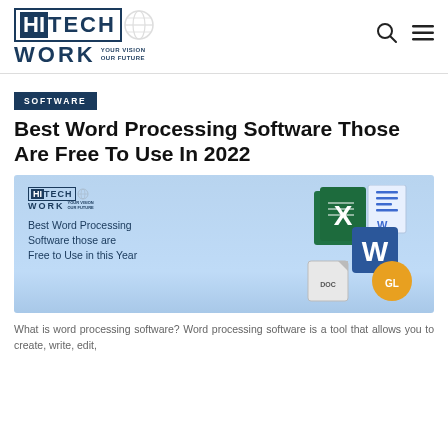HI TECH WORK — YOUR VISION OUR FUTURE
SOFTWARE
Best Word Processing Software Those Are Free To Use In 2022
[Figure (illustration): Feature banner image with HiTechWork logo on the left, text 'Best Word Processing Software those are Free to Use in this Year', and icons of Microsoft Word, Excel, and document files on the right, on a light blue gradient background.]
What is word processing software? Word processing software is a tool that allows you to create, write, edit,